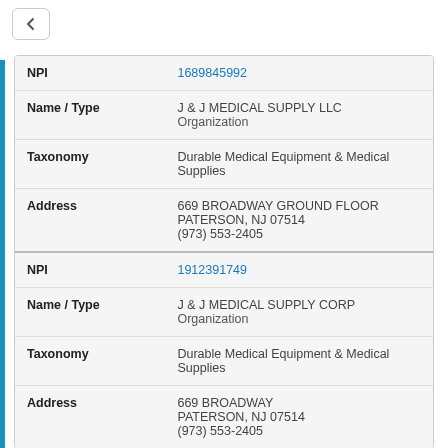| Field | Value |
| --- | --- |
| NPI | 1689845992 |
| Name / Type | J & J MEDICAL SUPPLY LLC
Organization |
| Taxonomy | Durable Medical Equipment & Medical Supplies |
| Address | 669 BROADWAY GROUND FLOOR
PATERSON, NJ 07514
(973) 553-2405 |
| NPI | 1912391749 |
| Name / Type | J & J MEDICAL SUPPLY CORP
Organization |
| Taxonomy | Durable Medical Equipment & Medical Supplies |
| Address | 669 BROADWAY
PATERSON, NJ 07514
(973) 553-2405 |